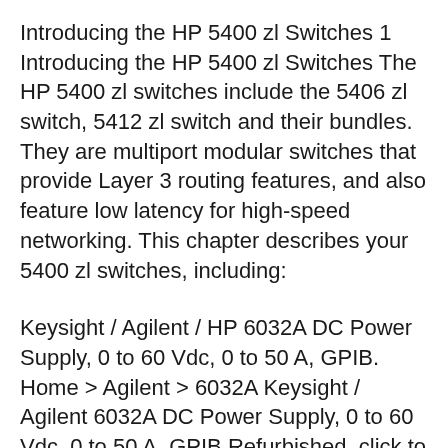Introducing the HP 5400 zl Switches 1 Introducing the HP 5400 zl Switches The HP 5400 zl switches include the 5406 zl switch, 5412 zl switch and their bundles. They are multiport modular switches that provide Layer 3 routing features, and also feature low latency for high-speed networking. This chapter describes your 5400 zl switches, including:
Keysight / Agilent / HP 6032A DC Power Supply, 0 to 60 Vdc, 0 to 50 A, GPIB. Home > Agilent > 6032A Keysight / Agilent 6032A DC Power Supply, 0 to 60 Vdc, 0 to 50 A, GPIB Refurbished. click to enlarge . Manufacturers Part #: 6032A. DC Power Supply, 0 to 60 Vdc, 0